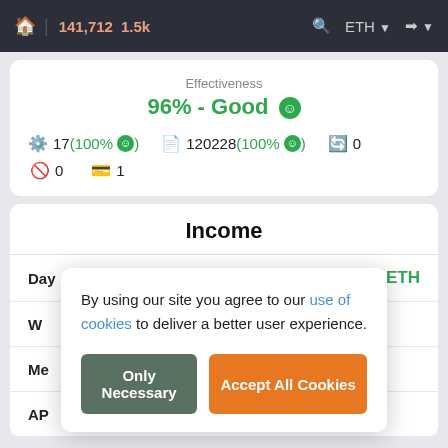🏠 | 141,712  1.5k  🔍  ETH  ➡
Effectiveness
96% - Good 😊
🔗 17(100% 😊)   📋 120228(100% 😊)   🔄 0
🚫 0   💳 1
Income
Day   +0.0033 ETH
W
Me
AP
By using our site you agree to our use of cookies to deliver a better user experience.
Only Necessary
Accept All Cookies